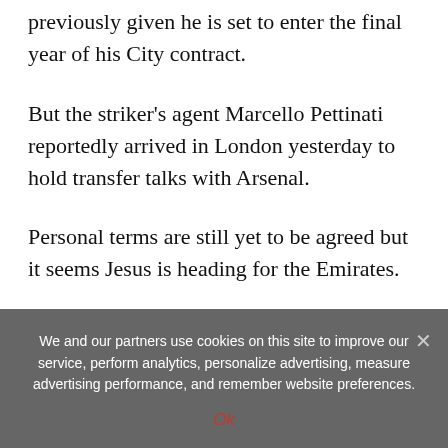previously given he is set to enter the final year of his City contract.
But the striker's agent Marcello Pettinati reportedly arrived in London yesterday to hold transfer talks with Arsenal.
Personal terms are still yet to be agreed but it seems Jesus is heading for the Emirates.
We and our partners use cookies on this site to improve our service, perform analytics, personalize advertising, measure advertising performance, and remember website preferences.